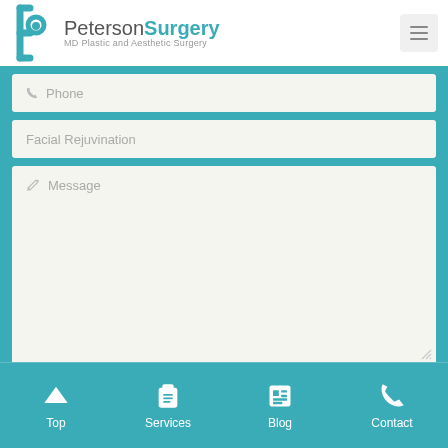PetersonSurgery MD Plastic and Aesthetic Surgery
Phone
Facial Rejuvination
Message
SEND MESSAGE
Top | Services | Blog | Contact